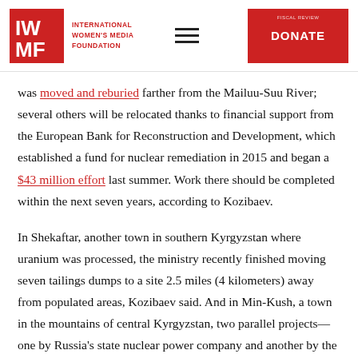International Women's Media Foundation — DONATE
was moved and reburied farther from the Mailuu-Suu River; several others will be relocated thanks to financial support from the European Bank for Reconstruction and Development, which established a fund for nuclear remediation in 2015 and began a $43 million effort last summer. Work there should be completed within the next seven years, according to Kozibaev.

In Shekaftar, another town in southern Kyrgyzstan where uranium was processed, the ministry recently finished moving seven tailings dumps to a site 2.5 miles (4 kilometers) away from populated areas, Kozibaev said. And in Min-Kush, a town in the mountains of central Kyrgyzstan, two parallel projects—one by Russia's state nuclear power company and another by the European Union—are expected to be completed by 2023. The EBRD's fund will also support